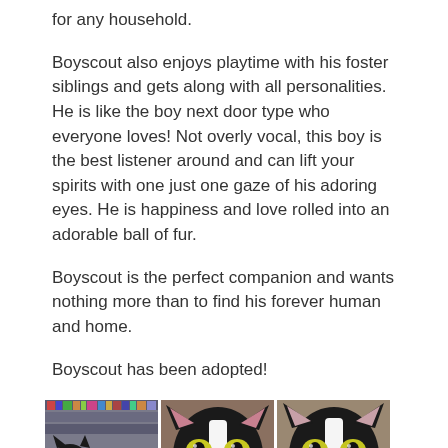for any household.
Boyscout also enjoys playtime with his foster siblings and gets along with all personalities. He is like the boy next door type who everyone loves! Not overly vocal, this boy is the best listener around and can lift your spirits with one just one gaze of his adoring eyes. He is happiness and love rolled into an adorable ball of fur.
Boyscout is the perfect companion and wants nothing more than to find his forever human and home.
Boyscout has been adopted!
[Figure (photo): Three photos of a black and white cat named Boyscout. Left: cat lying down on a blanket with shelves in background. Middle: close-up face shot of cat with bright yellow-green eyes. Right: another close-up face shot of the same cat.]